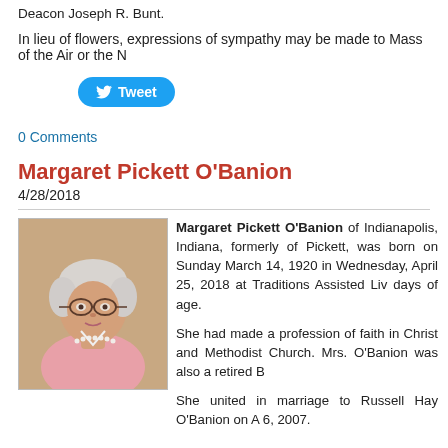Deacon Joseph R. Bunt.
In lieu of flowers, expressions of sympathy may be made to Mass of the Air or the N
[Figure (other): Twitter Tweet button with bird icon]
0 Comments
Margaret Pickett O'Banion
4/28/2018
[Figure (photo): Portrait photo of Margaret Pickett O'Banion, an elderly woman with white hair, glasses, wearing a pink blouse and pearl necklace]
Margaret Pickett O'Banion of Indianapolis, Indiana, formerly of Pickett, was born on Sunday March 14, 1920 in Wednesday, April 25, 2018 at Traditions Assisted Liv days of age.
She had made a profession of faith in Christ and Methodist Church. Mrs. O'Banion was also a retired B
She united in marriage to Russell Hay O'Banion on A 6, 2007.